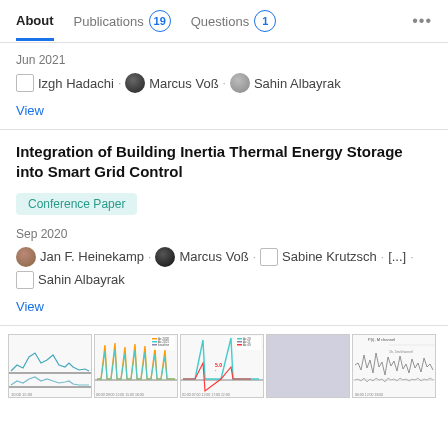About | Publications 19 | Questions 1 | ...
Jun 2021
Izgh Hadachi · Marcus Voß · Sahin Albayrak
View
Integration of Building Inertia Thermal Energy Storage into Smart Grid Control
Conference Paper
Sep 2020
Jan F. Heinekamp · Marcus Voß · Sabine Krutzsch · [...] · Sahin Albayrak
View
[Figure (continuous-plot): Five small thumbnail chart images showing time-series/line chart data related to thermal energy storage research]
[Figure (continuous-plot): Thumbnail of multi-line time series chart with legend]
[Figure (continuous-plot): Thumbnail of a spike/impulse chart with orange and teal lines]
[Figure (continuous-plot): Gray placeholder thumbnail]
[Figure (continuous-plot): Thumbnail of noisy waveform chart]